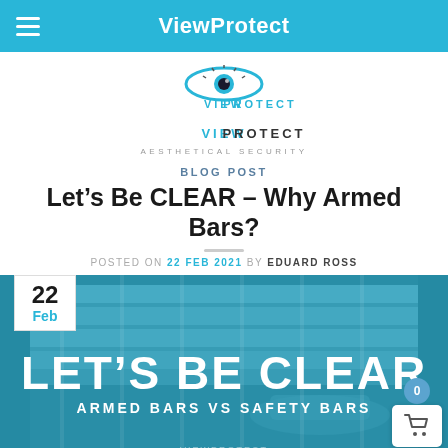ViewProtect
[Figure (logo): ViewProtect logo with eye graphic, text VIEWPROTECT AESTHETICAL SECURITY]
BLOG POST
Let's Be CLEAR – Why Armed Bars?
POSTED ON 22 FEB 2021 BY EDUARD ROSS
[Figure (photo): Hero image with blue overlay showing armed bars / security bars on property. Large white text reads LET'S BE CLEAR, subtext ARMED BARS VS SAFETY BARS. Date badge showing 22 Feb in top-left corner.]